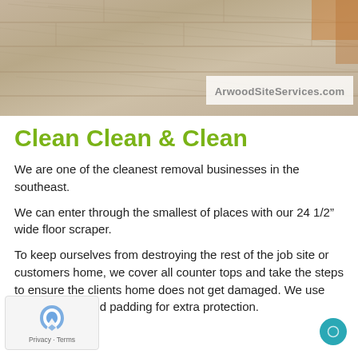[Figure (photo): Close-up photo of light wood/laminate flooring planks with grain texture. A watermark reads 'ArwoodSiteServices.com' in a semi-transparent white box overlaid on the lower-right of the image.]
Clean Clean & Clean
We are one of the cleanest removal businesses in the southeast.
We can enter through the smallest of places with our 24 1/2" wide floor scraper.
To keep ourselves from destroying the rest of the job site or customers home, we cover all counter tops and take the steps to ensure the clients home does not get damaged. We use 'ZIP WALLS" and padding for extra protection.